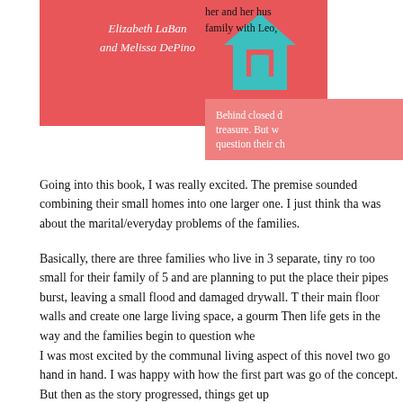[Figure (illustration): Book cover showing pink background with script text 'Elizabeth LaBan and Melissa DePino' and a teal house icon]
her and her husband family with Leo,
Behind closed d treasure. But w question their ch
Going into this book, I was really excited. The premise sounded combining their small homes into one larger one. I just think tha was about the marital/everyday problems of the families.
Basically, there are three families who live in 3 separate, tiny ro too small for their family of 5 and are planning to put the place their pipes burst, leaving a small flood and damaged drywall. T their main floor walls and create one large living space, a gourm Then life gets in the way and the families begin to question whe
I was most excited by the communal living aspect of this novel two go hand in hand. I was happy with how the first part was go of the concept. But then as the story progressed, things get up